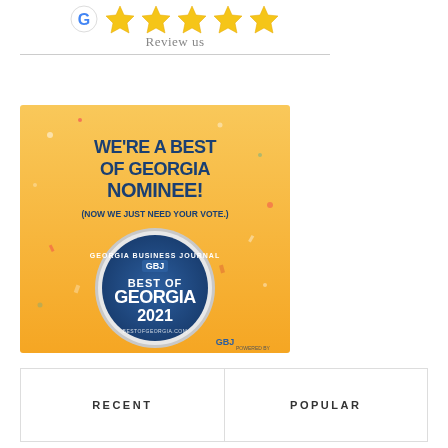[Figure (illustration): Five gold stars with a Google-style review icon at top, with 'Review us' text below]
[Figure (illustration): Best of Georgia 2021 Nominee badge on orange/gold confetti background. Text: WE'RE A BEST OF GEORGIA NOMINEE! (NOW WE JUST NEED YOUR VOTE.) GBJ BEST OF GEORGIA 2021 BESTOFGEORGIA.COM]
| RECENT | POPULAR |
| --- | --- |